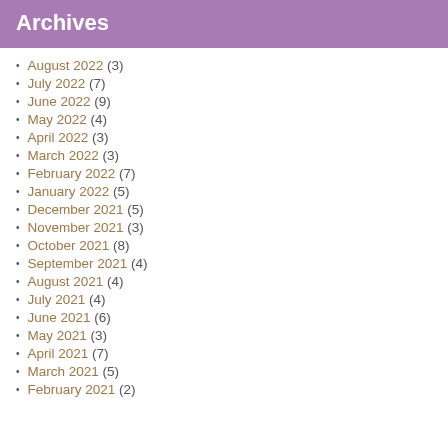Archives
August 2022 (3)
July 2022 (7)
June 2022 (9)
May 2022 (4)
April 2022 (3)
March 2022 (3)
February 2022 (7)
January 2022 (5)
December 2021 (5)
November 2021 (3)
October 2021 (8)
September 2021 (4)
August 2021 (4)
July 2021 (4)
June 2021 (6)
May 2021 (3)
April 2021 (7)
March 2021 (5)
February 2021 (2)